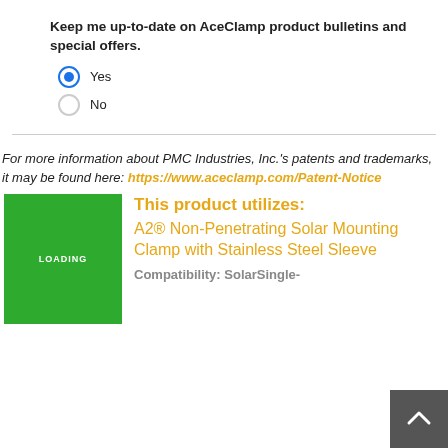Keep me up-to-date on AceClamp product bulletins and special offers.
Yes (selected)
No
For more information about PMC Industries, Inc.'s patents and trademarks, it may be found here: https://www.aceclamp.com/Patent-Notice
[Figure (photo): Green loading placeholder image with LOADING text]
This product utilizes: A2® Non-Penetrating Solar Mounting Clamp with Stainless Steel Sleeve
Compatibility: SolarSingle-